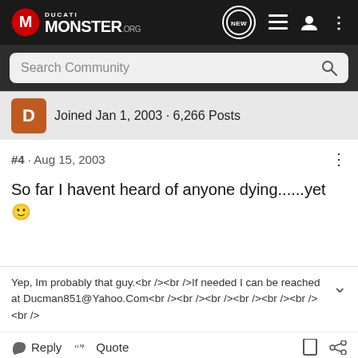Ducati Monster .org — Navigation bar with NEW, list, user, and more icons
Search Community
Joined Jan 1, 2003 · 6,266 Posts
#4 · Aug 15, 2003
So far I havent heard of anyone dying......yet 🙂
Yep, Im probably that guy.<br /><br />If needed I can be reached at Ducman851@Yahoo.Com<br /><br /><br /><br /><br /><br /><br />
Reply  Quote
[Figure (illustration): Suzuki GSX-S1000GT+ advertisement banner with motorcycle image]